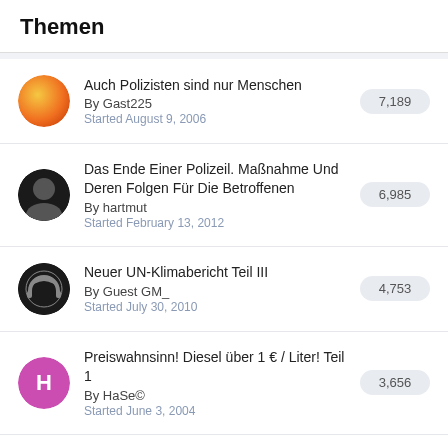Themen
Auch Polizisten sind nur Menschen
By Gast225
Started August 9, 2006
7,189
Das Ende Einer Polizeil. Maßnahme Und Deren Folgen Für Die Betroffenen
By hartmut
Started February 13, 2012
6,985
Neuer UN-Klimabericht Teil III
By Guest GM_
Started July 30, 2010
4,753
Preiswahnsinn! Diesel über 1 € / Liter! Teil 1
By HaSe©
Started June 3, 2004
3,656